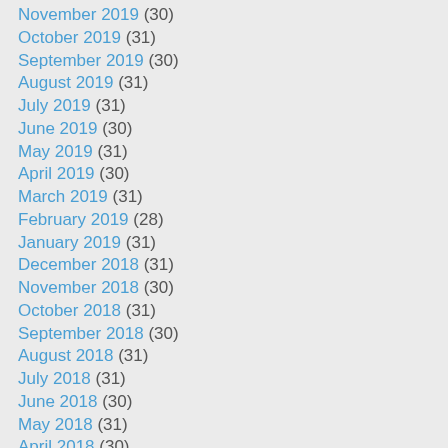November 2019 (30)
October 2019 (31)
September 2019 (30)
August 2019 (31)
July 2019 (31)
June 2019 (30)
May 2019 (31)
April 2019 (30)
March 2019 (31)
February 2019 (28)
January 2019 (31)
December 2018 (31)
November 2018 (30)
October 2018 (31)
September 2018 (30)
August 2018 (31)
July 2018 (31)
June 2018 (30)
May 2018 (31)
April 2018 (30)
March 2018 (31)
February 2018 (28)